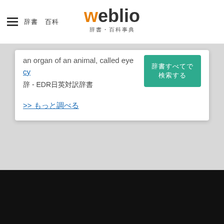weblio　辞典
an organ of an animal, called eye - EDR日英対訳辞書
>> もっと調べる